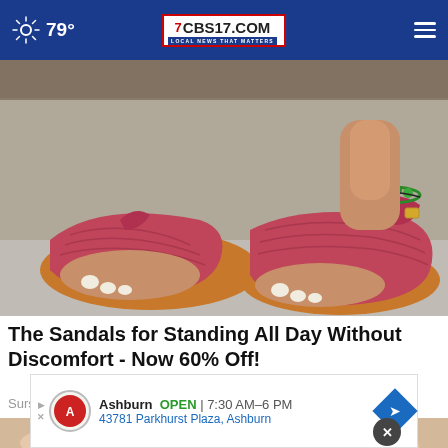79° CBS17.COM LOCAL NEWS THAT MATTERS
[Figure (photo): Close-up photo of a person's feet wearing red/pink patterned open-toe sandals with ankle strap and buckle, green bead anklet visible, on a light grey surface.]
The Sandals for Standing All Day Without Discomfort - Now 60% Off!
Sursell
[Figure (photo): Partial photo of a person's foot/toes, pinkish skin closeup, partially visible at bottom of page.]
Ashburn OPEN | 7:30 AM–6 PM 43781 Parkhurst Plaza, Ashburn